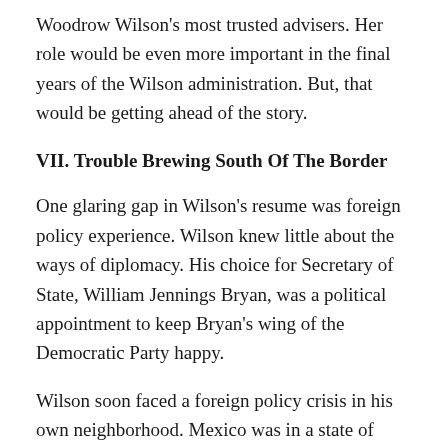Woodrow Wilson's most trusted advisers. Her role would be even more important in the final years of the Wilson administration. But, that would be getting ahead of the story.
VII. Trouble Brewing South Of The Border
One glaring gap in Wilson's resume was foreign policy experience. Wilson knew little about the ways of diplomacy. His choice for Secretary of State, William Jennings Bryan, was a political appointment to keep Bryan's wing of the Democratic Party happy.
Wilson soon faced a foreign policy crisis in his own neighborhood. Mexico was in a state of upheaval after longtime president Porfiro Diaz was overthrown in 1911. By 1913, Victoranio Huerta had managed to get himself